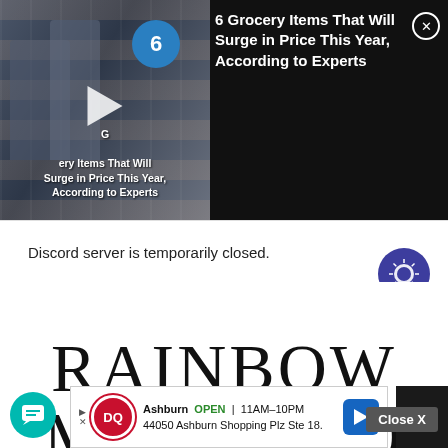[Figure (screenshot): Video thumbnail showing grocery store aisle with shoppers, play button overlay, number 6 in blue circle, and caption text about grocery items that will surge in price]
6 Grocery Items That Will Surge in Price This Year, According to Experts
Discord server is temporarily closed.
[Figure (other): Purple circular settings/sun icon button]
RAINBOW MUSHRO...
Close X
Ashburn  OPEN  11AM-10PM  44050 Ashburn Shopping Plz Ste 18.